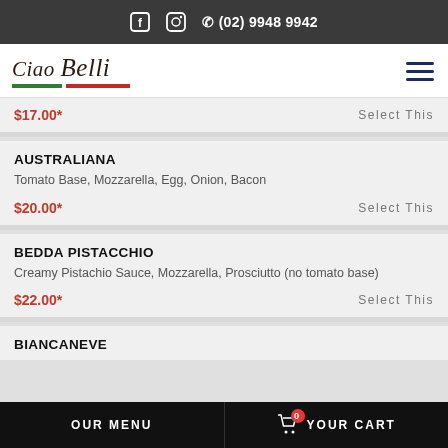f  [instagram]  (02) 9948 9942
[Figure (logo): Ciao Belli restaurant logo with italic script font and Italian flag colored underline (green, white, red)]
$17.00*   Select This
AUSTRALIANA
Tomato Base, Mozzarella, Egg, Onion, Bacon
$20.00*   Select This
BEDDA PISTACCHIO
Creamy Pistachio Sauce, Mozzarella, Prosciutto (no tomato base)
$22.00*   Select This
BIANCANEVE
OUR MENU   0   YOUR CART